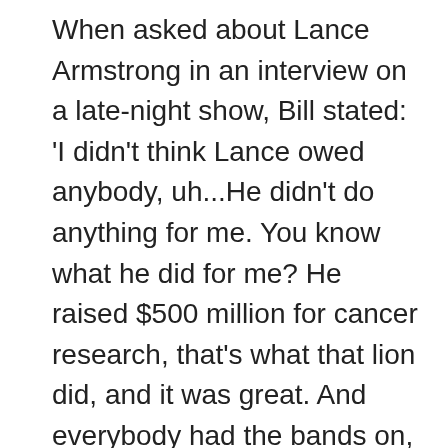When asked about Lance Armstrong in an interview on a late-night show, Bill stated: 'I didn't think Lance owed anybody, uh...He didn't do anything for me. You know what he did for me? He raised $500 million for cancer research, that's what that lion did, and it was great. And everybody had the bands on, remember the bands? Right? That blocked out the sun? No risk cancer. The whole thing was annoying, and I remember how Oprah was interviewing him, and acted like she was dumbfounded that this guy would do this. Like, she's been in show business for 35 years and she can't, like, wrap her head around some guy doing whatever it takes to get to